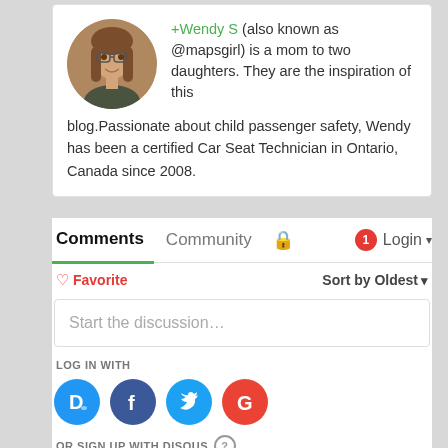[Figure (photo): Circular avatar photo of a woman with long brown hair and glasses, smiling, in front of a brick wall background]
+Wendy S (also known as @mapsgirl) is a mom to two daughters. They are the inspiration of this blog.Passionate about child passenger safety, Wendy has been a certified Car Seat Technician in Ontario, Canada since 2008.
Comments
Community
Login
♡ Favorite
Sort by Oldest ▾
Start the discussion…
LOG IN WITH
[Figure (logo): Disqus logo icon (blue circle with D)]
[Figure (logo): Facebook logo icon (dark blue circle with f)]
[Figure (logo): Twitter logo icon (light blue circle with bird)]
[Figure (logo): Google logo icon (red circle with G)]
OR SIGN UP WITH DISQUS